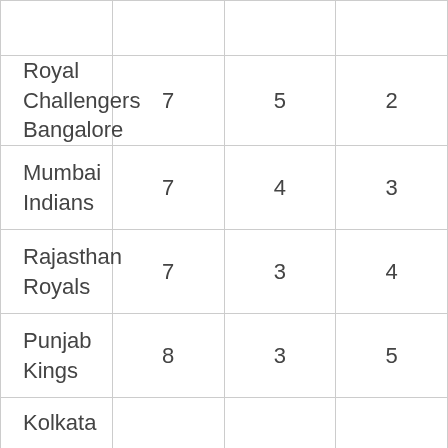| Team | Played | Won | Lost |
| --- | --- | --- | --- |
| [partial row — top cut off] |  |  |  |
| Royal Challengers Bangalore | 7 | 5 | 2 |
| Mumbai Indians | 7 | 4 | 3 |
| Rajasthan Royals | 7 | 3 | 4 |
| Punjab Kings | 8 | 3 | 5 |
| Kolkata |  |  |  |